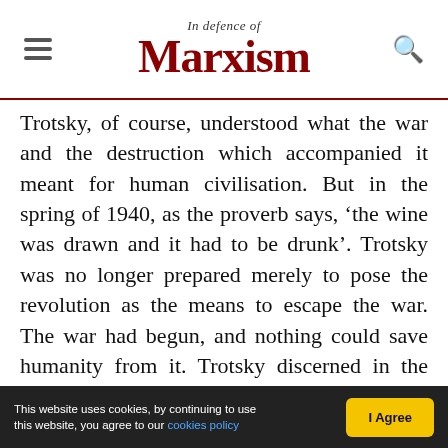In Defence of Marxism
Trotsky, of course, understood what the war and the destruction which accompanied it meant for human civilisation. But in the spring of 1940, as the proverb says, 'the wine was drawn and it had to be drunk'. Trotsky was no longer prepared merely to pose the revolution as the means to escape the war. The war had begun, and nothing could save humanity from it. Trotsky discerned in the war the gigantic crucible in which, amid unspeakable suffering, the revolutionary wave was to gather itself together, and within which the new phases of the world revolution would take shape. Trotsky
This website uses cookies, by continuing to use this website, you agree to our cookies policy  I Agree